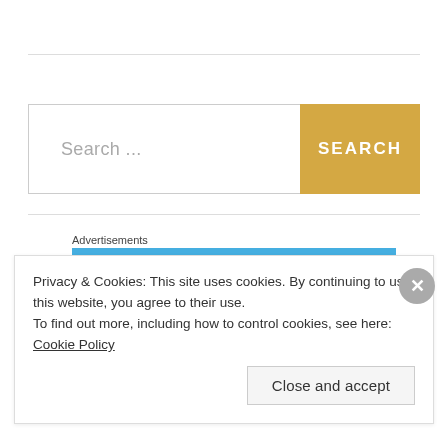[Figure (screenshot): Search bar with text input placeholder 'Search ...' and a golden yellow SEARCH button]
Advertisements
[Figure (illustration): Blue advertisement banner with sparkle/star decorations and circular elements at the bottom]
Privacy & Cookies: This site uses cookies. By continuing to use this website, you agree to their use.
To find out more, including how to control cookies, see here: Cookie Policy
Close and accept